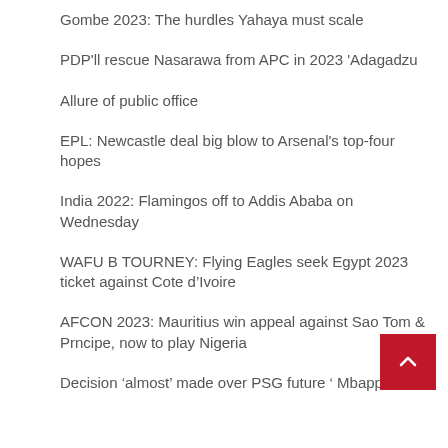Gombe 2023: The hurdles Yahaya must scale
PDP'll rescue Nasarawa from APC in 2023 'Adagadzu
Allure of public office
EPL: Newcastle deal big blow to Arsenal's top-four hopes
India 2022: Flamingos off to Addis Ababa on Wednesday
WAFU B TOURNEY: Flying Eagles seek Egypt 2023 ticket against Cote d’Ivoire
AFCON 2023: Mauritius win appeal against Sao Tom & Prncipe, now to play Nigeria
Decision ‘almost’ made over PSG future ‘ Mbappe
(partial text cut off at bottom)